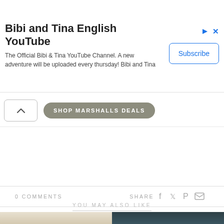[Figure (infographic): YouTube ad banner for 'Bibi and Tina English YouTube' channel with Subscribe button, and ad icons (triangle play icon and X) in top right]
SHOP MARSHALLS DEALS
0 COMMENTS
SHARE
YOU MAY ALSO LIKE
[Figure (photo): Two side-by-side room/interior photos at the bottom of the page, partially visible]